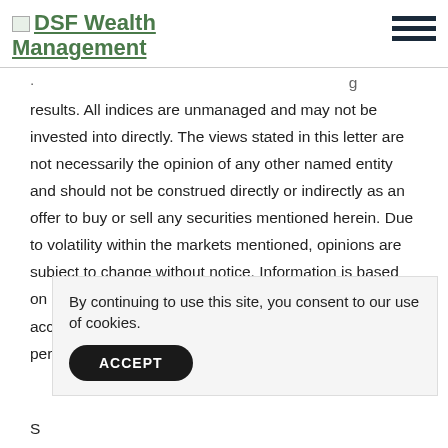DSF Wealth Management
results. All indices are unmanaged and may not be invested into directly. The views stated in this letter are not necessarily the opinion of any other named entity and should not be construed directly or indirectly as an offer to buy or sell any securities mentioned herein. Due to volatility within the markets mentioned, opinions are subject to change without notice. Information is based on sources believed to be reliable; however, their accuracy or completeness cannot be guaranteed. Past performance does not guarantee future results.
By continuing to use this site, you consent to our use of cookies.
S